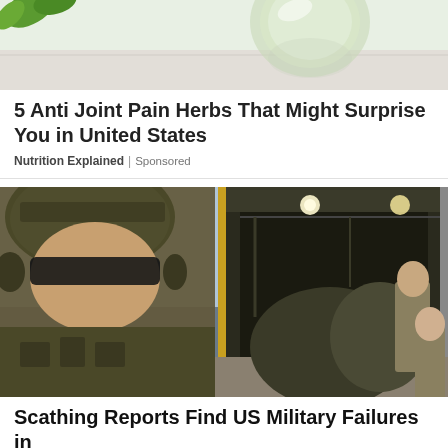[Figure (photo): Cropped advertisement image showing green herbs/supplement on a reflective surface with white background]
5 Anti Joint Pain Herbs That Might Surprise You in United States
Nutrition Explained | Sponsored
[Figure (photo): Military soldiers in camouflage gear boarding or unloading from a military transport aircraft cargo bay; one soldier in foreground in full combat gear with sunglasses]
Scathing Reports Find US Military Failures in